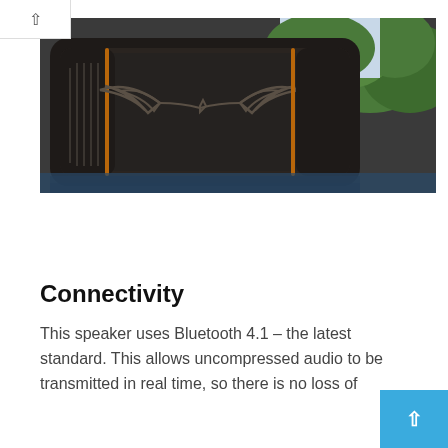[Figure (photo): Close-up photograph of a dark rugged Bluetooth speaker with a metallic wing/bird logo design on its front grille, placed outdoors near water with green trees in the background.]
Connectivity
This speaker uses Bluetooth 4.1 – the latest standard. This allows uncompressed audio to be transmitted in real time, so there is no loss of